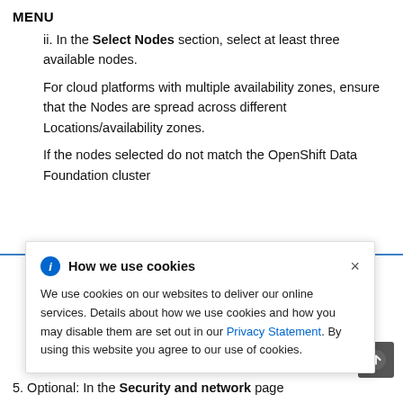MENU
ii. In the Select Nodes section, select at least three available nodes.
For cloud platforms with multiple availability zones, ensure that the Nodes are spread across different Locations/availability zones.
If the nodes selected do not match the OpenShift Data Foundation cluster
CPUs and is ode ing guide.
[Figure (infographic): Cookie consent banner overlay with title 'How we use cookies', info icon, close button, and text about cookie usage with Privacy Statement link.]
5. Optional: In the Security and network page